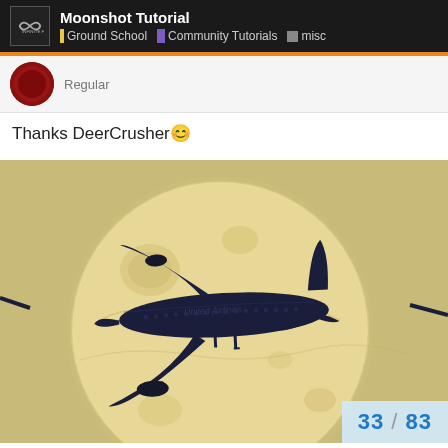Moonshot Tutorial | Ground School | Community Tutorials | misc
Regular
Thanks DeerCrusher😊
[Figure (photo): A commercial airplane silhouetted against a large, detailed full moon with a beige/golden sky background. The aircraft is dark navy/blue with text reading 'United Airlines' on the fuselage.]
33 / 83